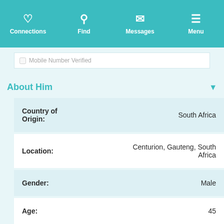Connections  Find  Messages  Menu
Mobile Number Verified
About Him
| Field | Value |
| --- | --- |
| Country of Origin: | South Africa |
| Location: | Centurion, Gauteng, South Africa |
| Gender: | Male |
| Age: | 45 |
| Star Sign: | Leo |